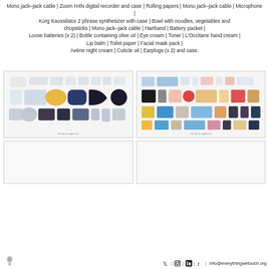Mono jack–jack cable | Zoom H4N digital recorder and case | Rolling papers | Mono jack–jack cable | Microphone | Korg Kaossilator 2 phrase synthesizer with case | Bowl with noodles, vegetables and chopsticks | Mono jack–jack cable | Hairband | Battery packet | Loose batteries (x 2) | Bottle containing olive oil | Eye cream | Toner | L'Occitane hand cream | Lip balm | Toilet paper | Facial mask pack | Avène night cream | Cuticle oil | Earplugs (x 2) and case.
[Figure (photo): Flat-lay arrangement of baby items including clothing, accessories, and toys on a light background]
[Figure (photo): Flat-lay arrangement of miscellaneous colorful items including clothing, toys, and accessories on a light background]
[Figure (photo): Empty or partially visible flat-lay arrangement on light background (bottom left)]
[Figure (photo): Empty or partially visible flat-lay arrangement on light background (bottom right)]
| | | | info@everythingwetouch.org